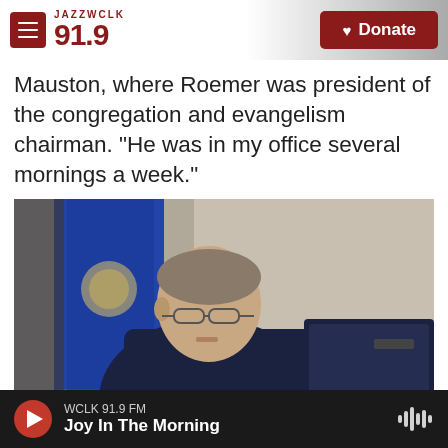JAZZ WCLK 91.9 | Donate
Mauston, where Roemer was president of the congregation and evangelism chairman. "He was in my office several mornings a week."
[Figure (photo): A judge or official in a dark robe seated at a bench, with a blue state flag in the background, looking down at documents or a screen.]
Tom Loucke / Wisconsin Rapids Tribune Via AP / Wisconsin Rapids Tribune Via AP
WCLK 91.9 FM — Joy In The Morning